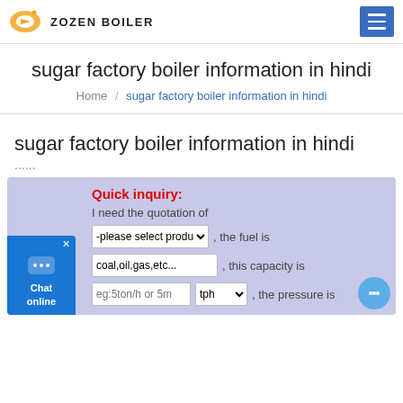ZOZEN BOILER
sugar factory boiler information in hindi
Home / sugar factory boiler information in hindi
sugar factory boiler information in hindi
......
Quick inquiry: I need the quotation of -please select product-, the fuel is coal,oil,gas,etc..., this capacity is eg:5ton/h or 5m tph, the pressure is